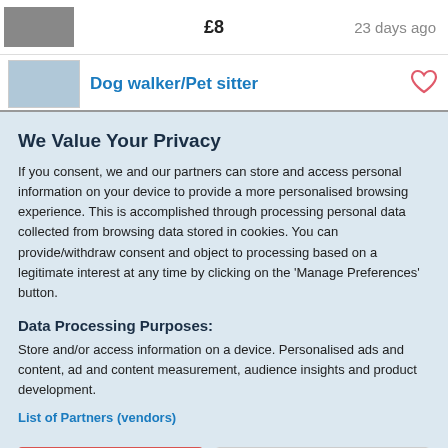£8    23 days ago
Dog walker/Pet sitter
We Value Your Privacy
If you consent, we and our partners can store and access personal information on your device to provide a more personalised browsing experience. This is accomplished through processing personal data collected from browsing data stored in cookies. You can provide/withdraw consent and object to processing based on a legitimate interest at any time by clicking on the 'Manage Preferences' button.
Data Processing Purposes:
Store and/or access information on a device. Personalised ads and content, ad and content measurement, audience insights and product development.
List of Partners (vendors)
Accept
Manage your privacy settings